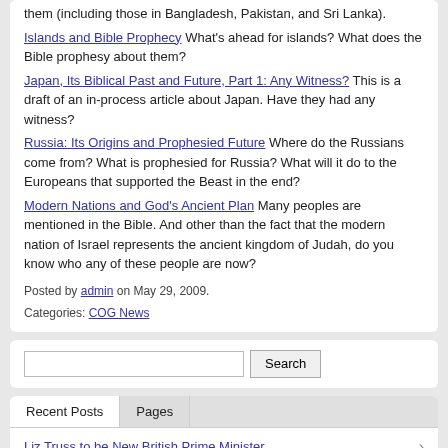them (including those in Bangladesh, Pakistan, and Sri Lanka).
Islands and Bible Prophecy What's ahead for islands? What does the Bible prophesy about them?
Japan, Its Biblical Past and Future, Part 1: Any Witness? This is a draft of an in-process article about Japan. Have they had any witness?
Russia: Its Origins and Prophesied Future Where do the Russians come from? What is prophesied for Russia? What will it do to the Europeans that supported the Beast in the end?
Modern Nations and God's Ancient Plan Many peoples are mentioned in the Bible. And other than the fact that the modern nation of Israel represents the ancient kingdom of Judah, do you know who any of these people are now?
Posted by admin on May 29, 2009.
Categories: COG News
Search
Recent Posts
Pages
Liz Truss to be New British Prime Minister